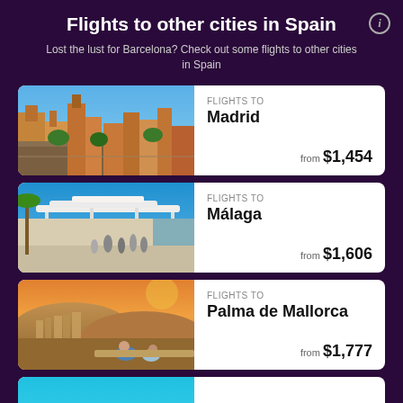Flights to other cities in Spain
Lost the lust for Barcelona? Check out some flights to other cities in Spain
[Figure (photo): Aerial view of Madrid city streets and buildings]
FLIGHTS TO
Madrid
from $1,454
[Figure (photo): Modern architecture and people walking in Málaga waterfront area]
FLIGHTS TO
Málaga
from $1,606
[Figure (photo): Sunset landscape view of Palma de Mallorca with people sitting]
FLIGHTS TO
Palma de Mallorca
from $1,777
[Figure (photo): Partial view of another city card at bottom]